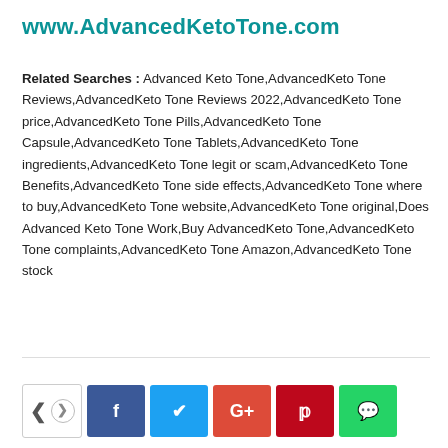www.AdvancedKetoTone.com
Related Searches : Advanced Keto Tone,AdvancedKeto Tone Reviews,AdvancedKeto Tone Reviews 2022,AdvancedKeto Tone price,AdvancedKeto Tone Pills,AdvancedKeto Tone Capsule,AdvancedKeto Tone Tablets,AdvancedKeto Tone ingredients,AdvancedKeto Tone legit or scam,AdvancedKeto Tone Benefits,AdvancedKeto Tone side effects,AdvancedKeto Tone where to buy,AdvancedKeto Tone website,AdvancedKeto Tone original,Does Advanced Keto Tone Work,Buy AdvancedKeto Tone,AdvancedKeto Tone complaints,AdvancedKeto Tone Amazon,AdvancedKeto Tone stock